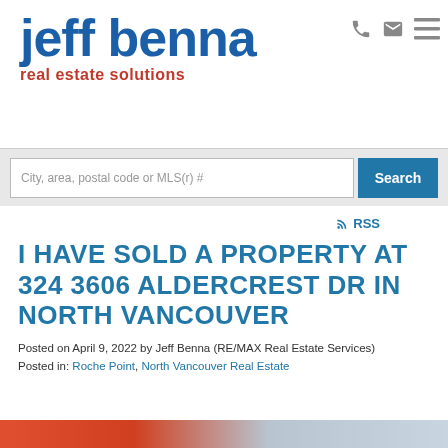jeff benna real estate solutions
City, area, postal code or MLS(r) #
Search
RSS
I HAVE SOLD A PROPERTY AT 324 3606 ALDERCREST DR IN NORTH VANCOUVER
Posted on April 9, 2022 by Jeff Benna (RE/MAX Real Estate Services)
Posted in: Roche Point, North Vancouver Real Estate
[Figure (photo): Bottom strip of a property photo, partially visible at the bottom of the page]